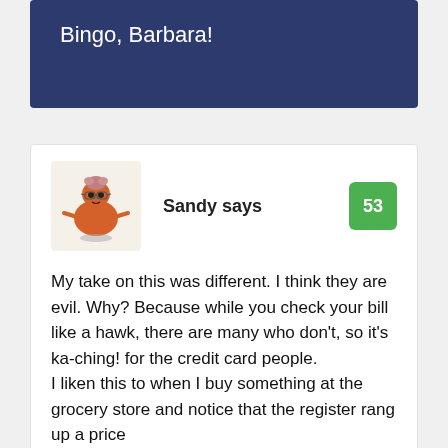Bingo, Barbara!
Sandy says
53
My take on this was different. I think they are evil. Why? Because while you check your bill like a hawk, there are many who don't, so it's ka-ching! for the credit card people.
I liken this to when I buy something at the grocery store and notice that the register rang up a price